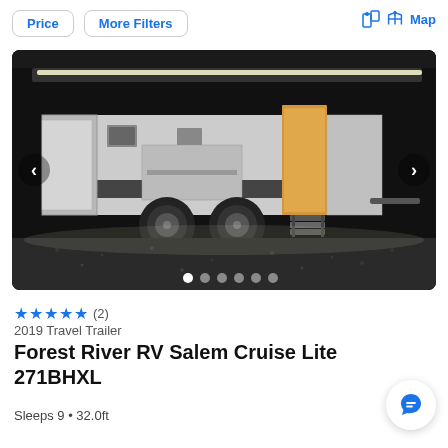Price | More Filters | Map
[Figure (photo): Night-time photo of a Forest River RV Salem Cruise Lite 271BHXL travel trailer parked outdoors, lit with white LED strip lighting along the awning, with the entry door open showing interior lights. Gravel ground visible beneath. Image carousel with navigation arrows and 6 dot indicators.]
★★★★★ (2)
2019 Travel Trailer
Forest River RV Salem Cruise Lite 271BHXL
Sleeps 9 • 32.0ft